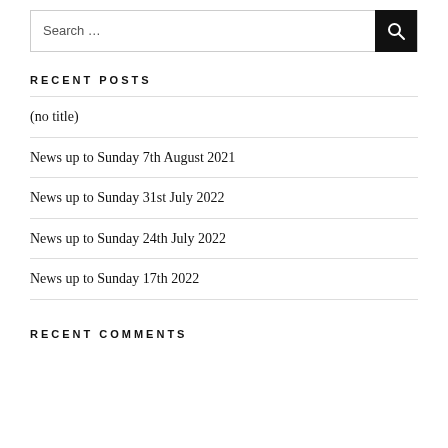[Figure (other): Search bar with text 'Search ...' and a black search button with magnifying glass icon]
RECENT POSTS
(no title)
News up to Sunday 7th August 2021
News up to Sunday 31st July 2022
News up to Sunday 24th July 2022
News up to Sunday 17th 2022
RECENT COMMENTS